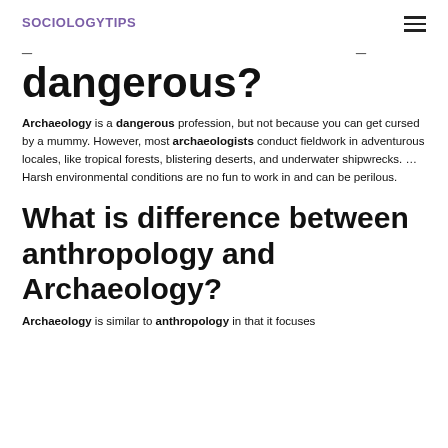SOCIOLOGYTIPS
dangerous?
Archaeology is a dangerous profession, but not because you can get cursed by a mummy. However, most archaeologists conduct fieldwork in adventurous locales, like tropical forests, blistering deserts, and underwater shipwrecks. … Harsh environmental conditions are no fun to work in and can be perilous.
What is difference between anthropology and Archaeology?
Archaeology is similar to anthropology in that it focuses